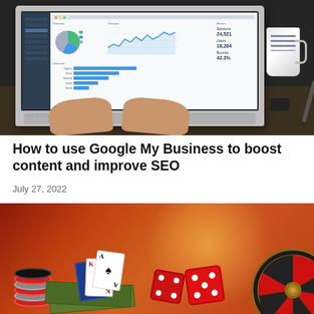[Figure (photo): Person typing on a laptop showing analytics/dashboard with charts and graphs; a coffee mug and pen visible on the right side; dark background desk scene]
How to use Google My Business to boost content and improve SEO
July 27, 2022
[Figure (photo): Casino scene with red dice, playing cards (Ace, King), poker chips, and a roulette wheel on a warm orange-red gradient background]